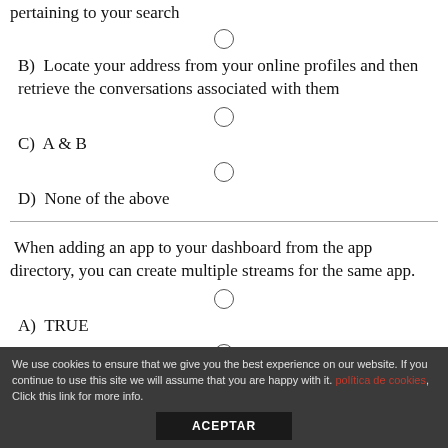pertaining to your search
B)  Locate your address from your online profiles and then retrieve the conversations associated with them
C)  A & B
D)  None of the above
When adding an app to your dashboard from the app directory, you can create multiple streams for the same app.
A)  TRUE
We use cookies to ensure that we give you the best experience on our website. If you continue to use this site we will assume that you are happy with it. política de cookies, Click this link for more info.
ACEPTAR